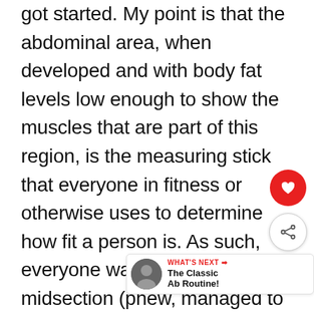got started. My point is that the abdominal area, when developed and with body fat levels low enough to show the muscles that are part of this region, is the measuring stick that everyone in fitness or otherwise uses to determine how fit a person is. As such, everyone wants a ripped midsection (phew, managed to get this thing back on track). The exercises that everyone performs to get the abs that will stop people dead in their tracks when they see them are crunch variations. Crunches, side crunches, weighted crunches, reverse crunches, crunches wearing gravity boots, crunches in a chair, on the floor, on a bench…I think you get my point, but is this the best way to build a strong and ripped midsection? Is the plank the simple answer to the non-stop crunching madness?